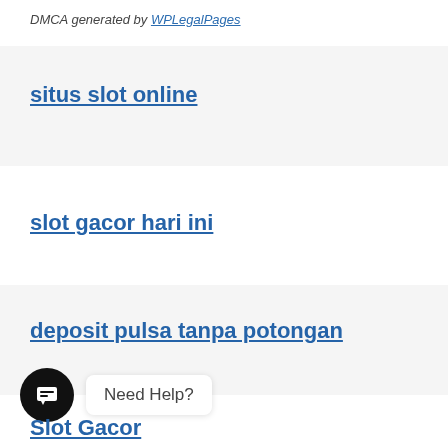DMCA generated by WPLegalPages
situs slot online
slot gacor hari ini
deposit pulsa tanpa potongan
Need Help?
Slot Gacor